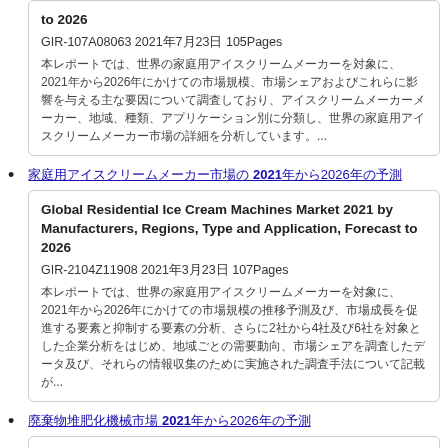to 2026
GIR-107A08063 2021年7月23日 105Pages
[Japanese text]...
[Japanese text link] 2021[Japanese text]
Global Residential Ice Cream Machines Market 2021 by Manufacturers, Regions, Type and Application, Forecast to 2026
GIR-2104Z11908 2021年3月23日 107Pages
[Japanese text]...
[Japanese text link] 2021[Japanese text]
Global Waste to Compost Machines Market 2021 by Manufacturers, Regions, Type and Application, Forecast